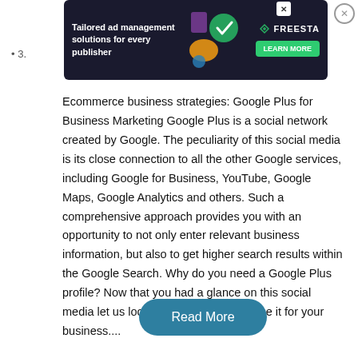[Figure (screenshot): Advertisement banner with dark background: 'Tailored ad management solutions for every publisher' with FREESTA logo and LEARN MORE button]
Ecommerce business strategies: Google Plus for Business Marketing Google Plus is a social network created by Google. The peculiarity of this social media is its close connection to all the other Google services, including Google for Business, YouTube, Google Maps, Google Analytics and others. Such a comprehensive approach provides you with an opportunity to not only enter relevant business information, but also to get higher search results within the Google Search. Why do you need a Google Plus profile? Now that you had a glance on this social media let us look at the main tools to use it for your business....
Read More